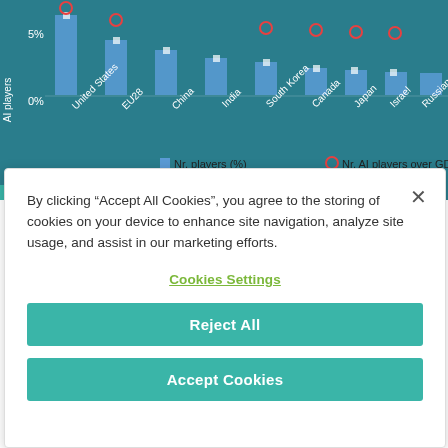[Figure (screenshot): Partial bar chart showing Nr. players (%) as blue bars and Nr. AI players over GDP as red circles, with country labels on x-axis (United States, EU28, China, India, South Korea, Canada, Japan, Israel, Russian Fe...) and y-axis values 0% and 5% visible. Chart background is teal/dark cyan. Legend shows blue square for Nr. players (%) and red circle for Nr. AI players over GD...]
By clicking "Accept All Cookies", you agree to the storing of cookies on your device to enhance site navigation, analyze site usage, and assist in our marketing efforts.
Cookies Settings
Reject All
Accept Cookies